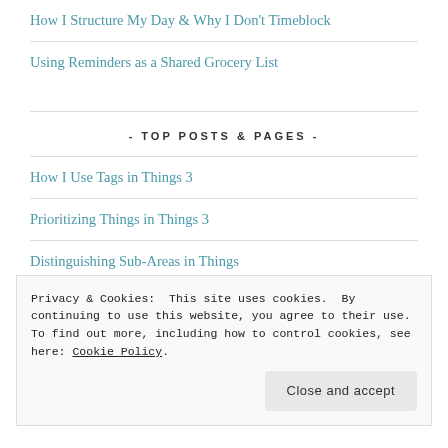How I Structure My Day & Why I Don't Timeblock
Using Reminders as a Shared Grocery List
- TOP POSTS & PAGES -
How I Use Tags in Things 3
Prioritizing Things in Things 3
Distinguishing Sub-Areas in Things
Privacy & Cookies: This site uses cookies. By continuing to use this website, you agree to their use. To find out more, including how to control cookies, see here: Cookie Policy